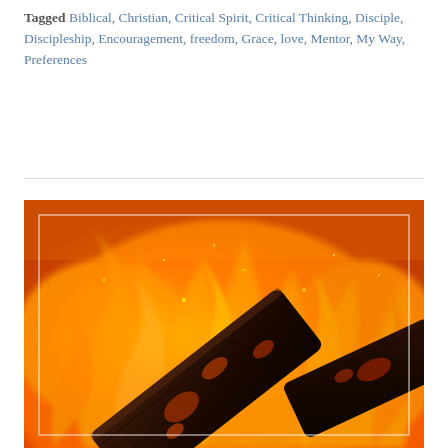Tagged Biblical, Christian, Critical Spirit, Critical Thinking, Disciple, Discipleship, Encouragement, freedom, Grace, love, Mentor, My Way, Preferences
[Figure (photo): Close-up photograph of burning logs with vivid orange and red flames surrounding dark charred wood pieces, dramatic fire imagery]